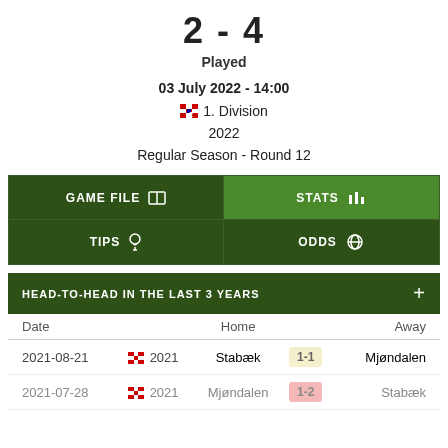2 - 4
Played
03 July 2022 - 14:00
1. Division
2022
Regular Season - Round 12
| GAME FILE | STATS | TIPS | ODDS |
| --- | --- | --- | --- |
HEAD-TO-HEAD IN THE LAST 3 YEARS
| Date | Home | Away |
| --- | --- | --- |
| 2021-08-21 | 2021 | Stabæk | 1-1 | Mjøndalen |
| 2021-07-28 | 2021 | Mjøndalen | 1-2 | Stabæk |